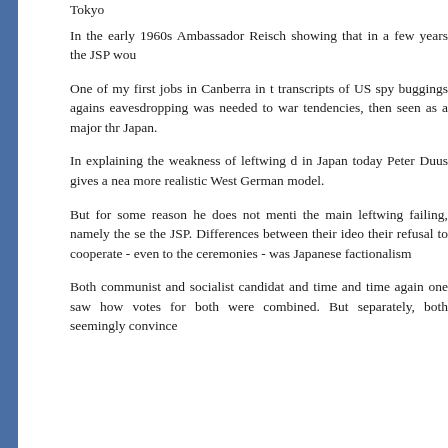Tokyo
In the early 1960s Ambassador Reisch showing that in a few years the JSP wou
One of my first jobs in Canberra in th transcripts of US spy buggings agains eavesdropping was needed to war tendencies, then seen as a major thr Japan.
In explaining the weakness of leftwing d in Japan today Peter Duus gives a nea more realistic West German model.
But for some reason he does not menti the main leftwing failing, namely the se the JSP. Differences between their ideo their refusal to cooperate - even to the ceremonies - was Japanese factionalism
Both communist and socialist candidat and time and time again one saw how votes for both were combined. But separately, both seemingly convinced